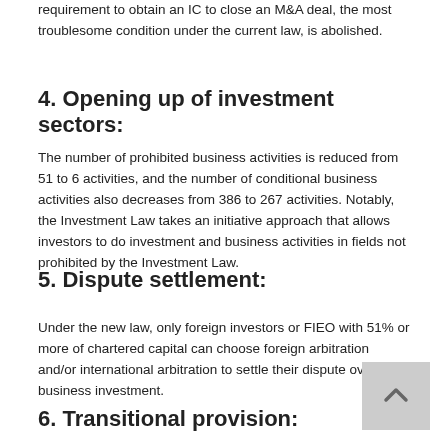requirement to obtain an IC to close an M&A deal, the most troublesome condition under the current law, is abolished.
4. Opening up of investment sectors:
The number of prohibited business activities is reduced from 51 to 6 activities, and the number of conditional business activities also decreases from 386 to 267 activities. Notably, the Investment Law takes an initiative approach that allows investors to do investment and business activities in fields not prohibited by the Investment Law.
5. Dispute settlement:
Under the new law, only foreign investors or FIEO with 51% or more of chartered capital can choose foreign arbitration and/or international arbitration to settle their dispute over business investment.
6. Transitional provision: